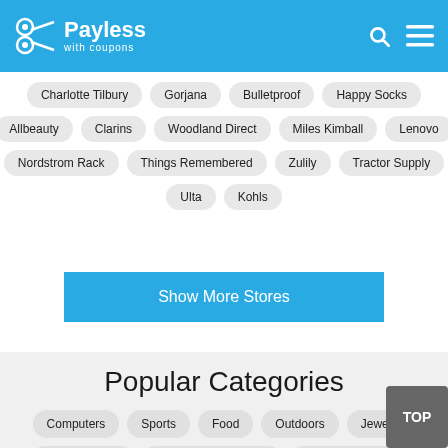Payless with coupons
Charlotte Tilbury
Gorjana
Bulletproof
Happy Socks
Allbeauty
Clarins
Woodland Direct
Miles Kimball
Lenovo
Nordstrom Rack
Things Remembered
Zulily
Tractor Supply
Ulta
Kohls
Show More Stores
Popular Categories
Computers
Sports
Food
Outdoors
Jewelry
Entertainment
Gifts and Collectibles
Home and Garden
Beauty
Women's Clothing
Electronics
Shoes
Clothing